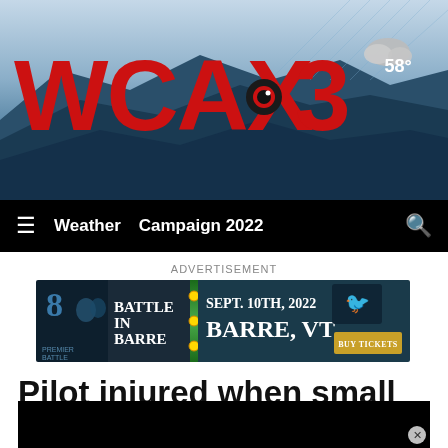[Figure (logo): WCAX 3 television station logo in red with mountain background and weather showing 58 degrees]
≡  Weather  Campaign 2022  🔍
ADVERTISEMENT
[Figure (screenshot): Advertisement banner: Battle in Barre, Sept. 10th, 2022, Barre, VT - Buy Tickets]
Pilot injured when small plane crashes into Connecticut River